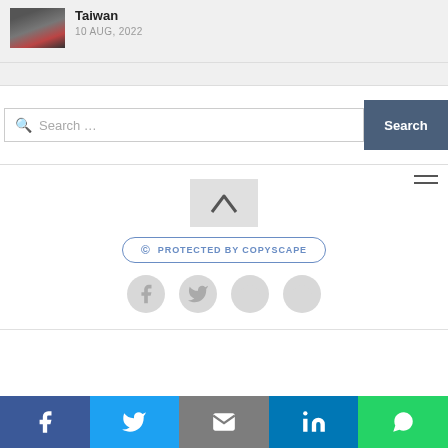[Figure (photo): Thumbnail image of airplane/aviation related scene]
Taiwan
10 AUG, 2022
Search …
Search
[Figure (other): Hamburger menu icon (three horizontal lines)]
[Figure (other): Scroll to top button with chevron up arrow]
[Figure (other): Protected by Copyscape badge]
[Figure (other): Facebook and Twitter social media circle icons]
Facebook | Twitter | Email | LinkedIn | WhatsApp share bar